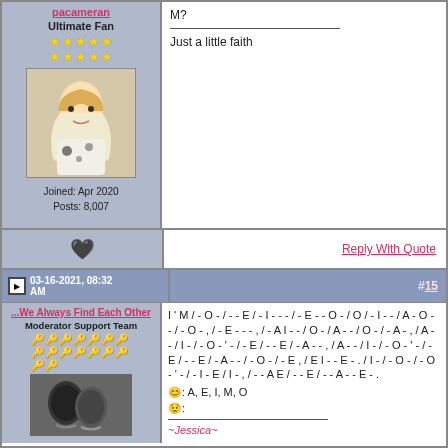pacameran
Ultimate Fan
Joined: Apr 2020
Posts: 8,007
M?
____________________
Just a little faith
Reply With Quote
03-16-2021, 08:32 AM
#15
...We Always Find Each Other
Moderator Support Team
I ' M / - O - / - - E / - I - - - / - E - - O - / O / - I - - / A - O - - / - O - , / - E - - - , / - A I - - / O - / A - - / O - / - A - , / A - - / I - / - O - ' - / - E / - - E / - A - - , / A - - / I - / - O - ' - / - E / - - E / - A - - / - O - / - E , / E I - - E - . / I - / - O - / - O - ' - / - I - E / I - , / - - A E / - - E / - - A - - E - .
😊: A, E, I, M, O
😟:
~Jessica~